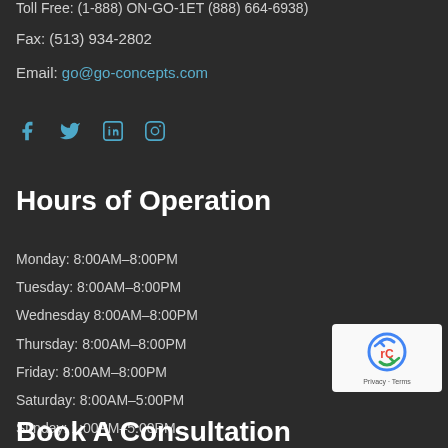Toll Free: (1-888) ON-GO-1ET (888) 664-6938)
Fax: (513) 934-2802
Email: go@go-concepts.com
[Figure (other): Social media icons: Facebook, Twitter, LinkedIn, Instagram]
Hours of Operation
Monday: 8:00AM–8:00PM
Tuesday: 8:00AM–8:00PM
Wednesday 8:00AM–8:00PM
Thursday: 8:00AM–8:00PM
Friday: 8:00AM–8:00PM
Saturday: 8:00AM–5:00PM
Sunday: 1:00PM–5:00PM
Book A Consultation